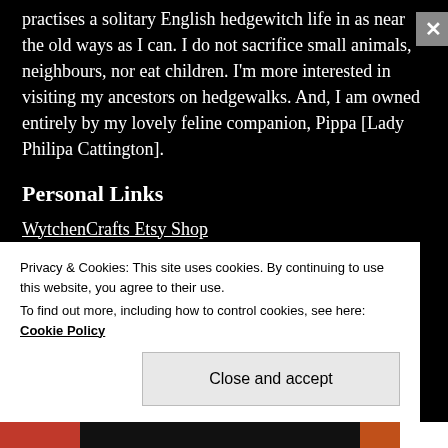practises a solitary English hedgewitch life in as near the old ways as I can. I do not sacrifice small animals, neighbours, nor eat children. I'm more interested in visiting my ancestors on hedgewalks. And, I am owned entirely by my lovely feline companion, Pippa [Lady Philipa Cattington].
Personal Links
WytchenCrafts Etsy Shop
WytchenCrafts Facebook page
The Wand Carver on Instagram
Privacy & Cookies: This site uses cookies. By continuing to use this website, you agree to their use.
To find out more, including how to control cookies, see here: Cookie Policy
Close and accept